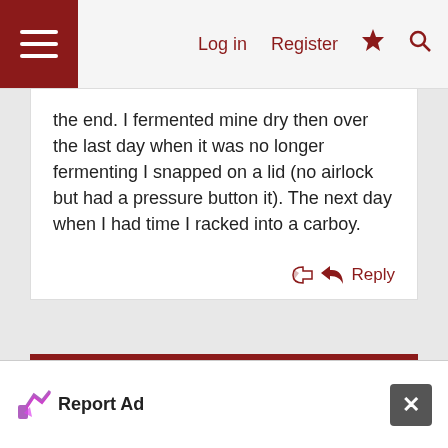Log in  Register
the end. I fermented mine dry then over the last day when it was no longer fermenting I snapped on a lid (no airlock but had a pressure button it). The next day when I had time I racked into a carboy.
Reply
Advertisement
Report Ad